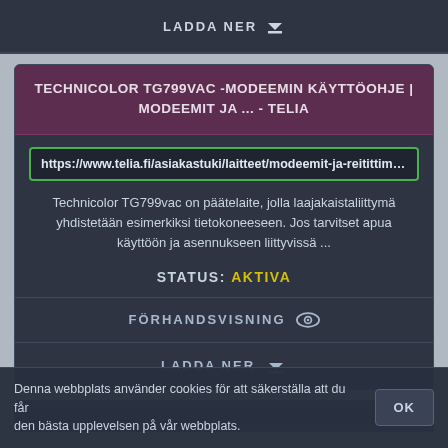LADDA NER ↓
TECHNICOLOR TG799VAC -MODEEMIN KÄYTTÖOHJE | MODEEMIT JA ... - TELIA
https://www.telia.fi/asiakastuki/laitteet/modeemit-ja-reitittimet/Technicolor-TG799vac-modeemit-ja-reitittimet/Technicolor
Technicolor TG799vac on päätelaite, jolla laajakaistaliittymä yhdistetään esimerkiksi tietokoneeseen. Jos tarvitset apua käyttöön ja asennukseen liittyvissä ...
STATUS: AKTIVA
FÖRHANDSVISNING 👁
LADDA NER ↓
Denna webbplats använder cookies för att säkerställa att du får den bästa upplevelsen på vår webbplats.
OK